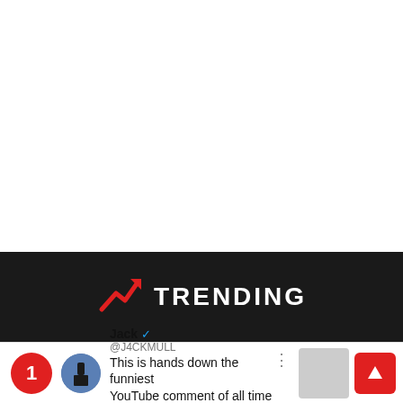[Figure (other): White empty space at top of page]
TRENDING
[Figure (screenshot): Tweet card showing user Jack @J4CKMULL with text 'This is hands down the funniest YouTube comment of all time 😂😂', ranked #1 trending, with a thumbnail image and up arrow button]